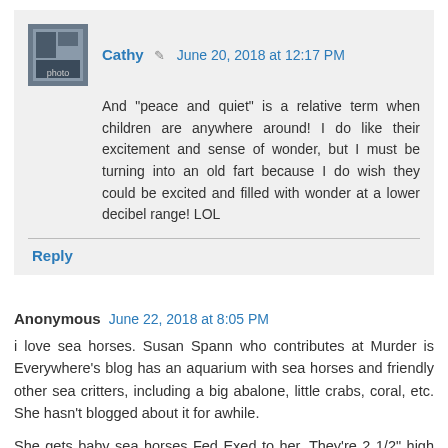Cathy · June 20, 2018 at 12:17 PM
And "peace and quiet" is a relative term when children are anywhere around! I do like their excitement and sense of wonder, but I must be turning into an old fart because I do wish they could be excited and filled with wonder at a lower decibel range! LOL
Reply
Anonymous  June 22, 2018 at 8:05 PM
i love sea horses. Susan Spann who contributes at Murder is Everywhere's blog has an aquarium with sea horses and friendly other sea critters, including a big abalone, little crabs, coral, etc. She hasn't blogged about it for awhile.
She gets baby sea horses Fed Exed to her. They're 2 1/2" high and grow to 8'. How informative is the internet!